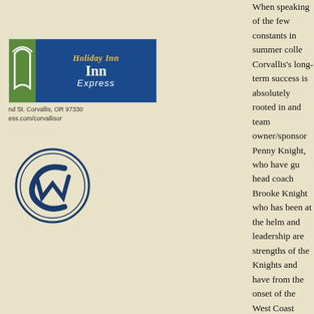[Figure (logo): Holiday Inn Express logo with green tab and blue box]
nd St. Corvallis, OR 97330
ess.com/corvallisor
[Figure (logo): Corvallis Knights circular logo/emblem in dark blue]
When speaking of the few constants in summer colle... Corvallis's long-term success is absolutely rooted in... and team owner/sponsor Penny Knight, who have gu... head coach Brooke Knight who has been at the helm... and leadership are strengths of the Knights and have... from the onset of the West Coast League.
Being consistently competitive is a franchise hallmar... schedule, Corvallis is competing once again for a div... year's squad has put itself in a position to control its ... repeat WCL title. Corvallis finishes the season with 6... series at Klamath Falls (Aug. 1-3) and Medford (Aug...
This past WCL series, starting pitcher Jackson Lockw... leading 7th win and southpaw Joey Wise, who recen... recorded his second save as Corvallis edged Victoria... Park in the series opener on Friday night. Dalton Kel... Corban each homered to lead the offense. The Knig... hotly contested match that featured a few bench clea... College kept the Knights in the game with four innin... registered a clutch save to give Haddeland and the K... the HarbourCats routed the Knights 19-10 in the seri...
The team's pitching staff has been its stable for year... improving under the guidance of fourth-year pitching... ERA is 3.73, which is a franchise high. Corvallis has... seasons, never exceeding an ERA of 2.98. Under La... league's lowest ERA in 2011 (2.47), 2012 (2.80) and...
The Knights pitching battle has also extended to the...